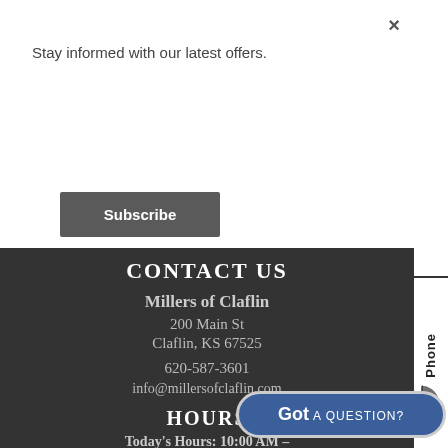Stay informed with our latest offers.
Subscribe
CONTACT US
Millers of Claflin
200 Main St
Claflin, KS 67525
620-587-3601
info@millersofclaflin.com
HOURS
Today's Hours: 10:00 AM –
STAY CONNECTED
Phone
Got A QUESTION?